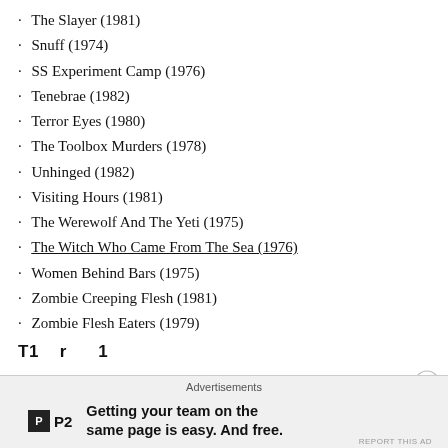The Slayer (1981)
Snuff (1974)
SS Experiment Camp (1976)
Tenebrae (1982)
Terror Eyes (1980)
The Toolbox Murders (1978)
Unhinged (1982)
Visiting Hours (1981)
The Werewolf And The Yeti (1975)
The Witch Who Came From The Sea (1976)
Women Behind Bars (1975)
Zombie Creeping Flesh (1981)
Zombie Flesh Eaters (1979)
Advertisements
Getting your team on the same page is easy. And free.